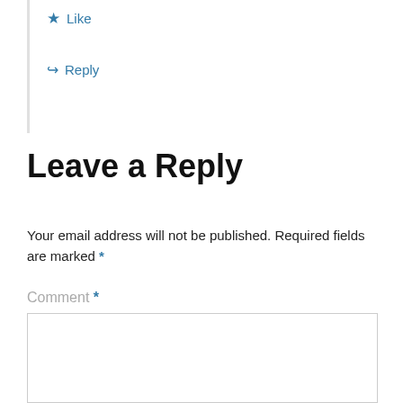★ Like
↳ Reply
Leave a Reply
Your email address will not be published. Required fields are marked *
Comment *